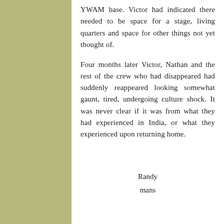YWAM base. Victor had indicated there needed to be space for a stage, living quarters and space for other things not yet thought of.
Four months later Victor, Nathan and the rest of the crew who had disappeared had suddenly reappeared looking somewhat gaunt, tired, undergoing culture shock. It was never clear if it was from what they had experienced in India, or what they experienced upon returning home.
Randy
mans